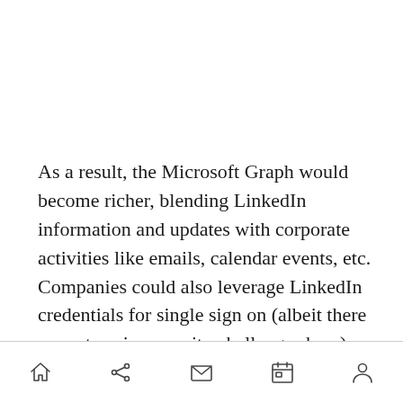As a result, the Microsoft Graph would become richer, blending LinkedIn information and updates with corporate activities like emails, calendar events, etc. Companies could also leverage LinkedIn credentials for single sign on (albeit there are enterprise security challenges here). This would ultimately be a better experience, because rather than needing new credentials every time
[home] [share] [mail] [calendar] [profile]